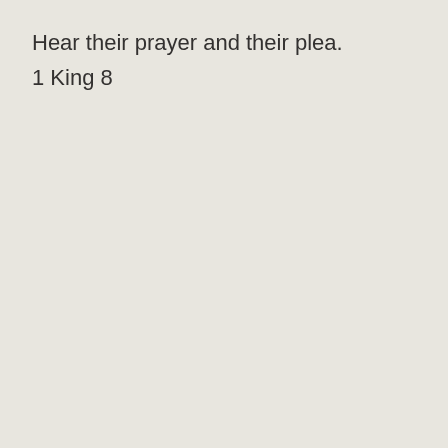Hear their prayer and their plea.
1 King 8